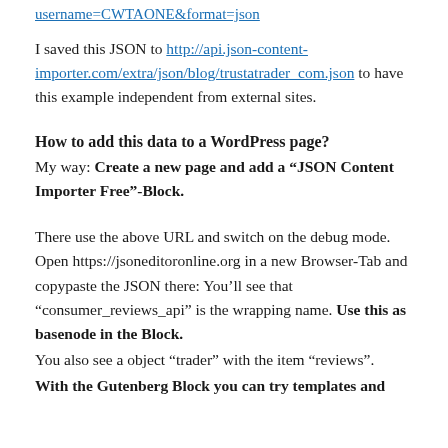username=CWTAONE&format=json
I saved this JSON to http://api.json-content-importer.com/extra/json/blog/trustatrader_com.json to have this example independent from external sites.
How to add this data to a WordPress page?
My way: Create a new page and add a “JSON Content Importer Free”-Block.
There use the above URL and switch on the debug mode. Open https://jsoneditoronline.org in a new Browser-Tab and copypaste the JSON there: You’ll see that “consumer_reviews_api” is the wrapping name. Use this as basenode in the Block.
You also see a object “trader” with the item “reviews”.
With the Gutenberg Block you can try templates and